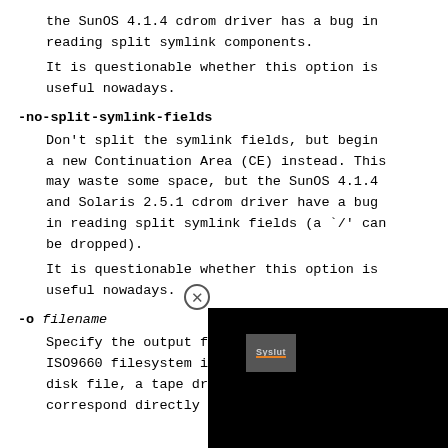the SunOS 4.1.4 cdrom driver has a bug in reading split symlink components.
It is questionable whether this option is useful nowadays.
-no-split-symlink-fields
Don't split the symlink fields, but begin a new Continuation Area (CE) instead. This may waste some space, but the SunOS 4.1.4 and Solaris 2.5.1 cdrom driver have a bug in reading split symlink fields (a `/' can be dropped).
It is questionable whether this option is useful nowadays.
-o filename
Specify the output fi... ISO9660 filesystem ima... disk file, a tape dri... correspond directly to...